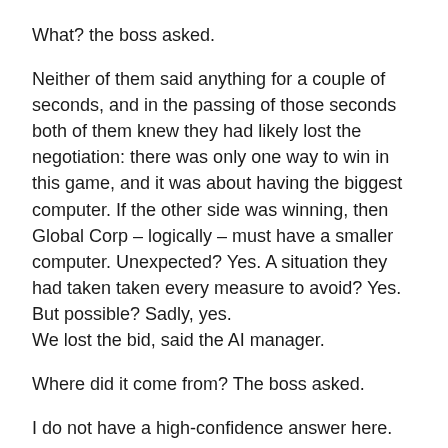What? the boss asked.
Neither of them said anything for a couple of seconds, and in the passing of those seconds both of them knew they had likely lost the negotiation: there was only one way to win in this game, and it was about having the biggest computer. If the other side was winning, then Global Corp – logically – must have a smaller computer. Unexpected? Yes. A situation they had taken taken every measure to avoid? Yes. But possible? Sadly, yes.
We lost the bid, said the AI manager.
Where did it come from? The boss asked.
I do not have a high-confidence answer here.
I figured, said the boss. Maybe let's work backwards – how many people could afford to outspend us?